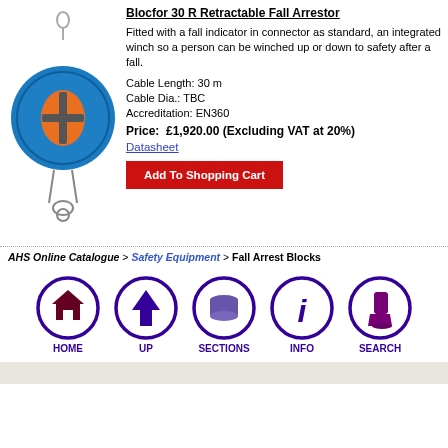[Figure (photo): Blue circular Blocfor 30 R Retractable Fall Arrestor device with orange accent and hook, shown hanging]
Blocfor 30 R Retractable Fall Arrestor
Fitted with a fall indicator in connector as standard, an integrated winch so a person can be winched up or down to safety after a fall.
Cable Length: 30 m
Cable Dia.: TBC
Accreditation: EN360
Price:  £1,920.00 (Excluding VAT at 20%)
Datasheet
Add To Shopping Cart
AHS Online Catalogue > Safety Equipment > Fall Arrest Blocks
[Figure (illustration): Navigation icons row: HOME (house), UP (arrow), SECTIONS (disk/cylinder), INFO (i), SEARCH (torch/flashlight) — all in purple on white circular backgrounds with purple borders]